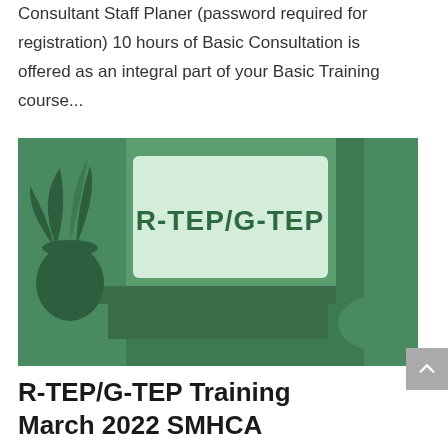Consultant Staff Planer (password required for registration) 10 hours of Basic Consultation is offered as an integral part of your Basic Training course...
[Figure (illustration): Illustrated image with green tones showing a podium/desk scene with a plant vase on the left and a screen or board displaying the text R-TEP/G-TEP in dark green bold letters on a light green background.]
R-TEP/G-TEP Training March 2022 SMHCA